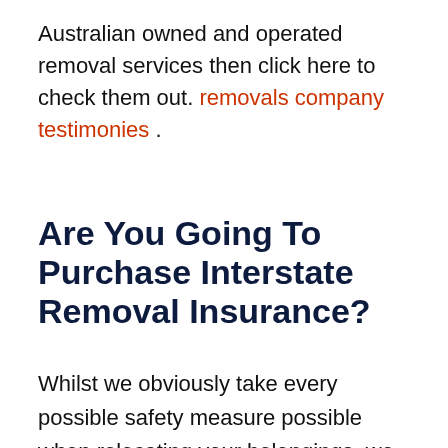Australian owned and operated removal services then click here to check them out. removals company testimonies .
Are You Going To Purchase Interstate Removal Insurance?
Whilst we obviously take every possible safety measure possible when relocating your belongings, we still urge all clients to take out their own